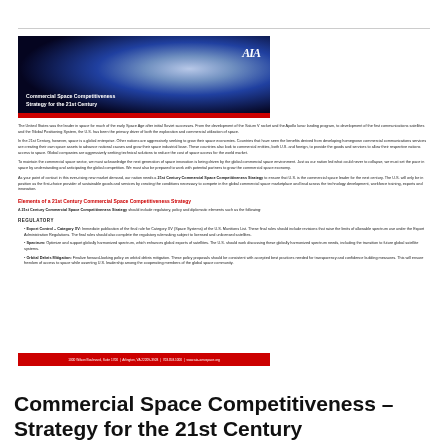[Figure (illustration): Dark space-themed banner image with blue/purple radial gradient suggesting Earth from space, AIA logo in top right, red bar at bottom, text overlay reading 'Commercial Space Competitiveness Strategy for the 21st Century']
The United States was the leader in space for much of the early Space Age after initial Soviet successes. From the development of the Saturn V rocket and the Apollo lunar landing program, to development of the first communications satellites and the Global Positioning System, the U.S. has been the primary driver of both the exploration and commercial utilization of space.
In the 21st Century, however, space is a global enterprise. Other nations are aggressively seeking to grow their space economies. Countries that have seen the benefits derived from developing homegrown commercial communications services are creating their own space assets to advance national causes and grow their space industrial base. These countries also look to commercial entities, both U.S. and foreign, to provide the goods and services to allow their respective nations access to space. Global companies are aggressively seeking technical solutions to reduce the cost of space access for the world market.
To maintain the commercial space sector, we must acknowledge the next generation of space innovation is being driven by the global commercial space environment. Just as our nation led what could never to collapse, we must set the pace in space by understanding and anticipating the global competition. We must also be prepared to work with potential partners to grow the commercial space economy.
As your point of contact in this ever-rising new market demand, our nation needs a 21st Century Commercial Space Competitiveness Strategy to ensure that U.S. is the commercial space leader for the next century. The U.S. will only be in position as the first-choice provider of sustainable goods and services by creating the conditions necessary to compete in the global commercial space marketplace and lead across the technology development, workforce training, exports and innovation.
Elements of a 21st Century Commercial Space Competitiveness Strategy
A 21st Century Commercial Space Competitiveness Strategy should include regulatory, policy and diplomatic elements such as the following:
REGULATORY
Export Control – Category XV: Immediate publication of the final rule for Category XV (Space Systems) of the U.S. Munitions List. These final rules should include revisions that raise the limits of allowable spectrum use under the Export Administration Regulations. The final rules should also complete the regulatory rulemaking subject to licensed and unlicensed satellites.
Spectrum: Optimize and support globally harmonized spectrum, which enhances global exports of satellites. The U.S. should work discussing these globally harmonized spectrum needs, including the transition to future global satellite systems.
Orbital Debris Mitigation: Finalize forward-looking policy on orbital debris mitigation. These policy proposals should be consistent with accepted best practices needed for transparency and confidence building measures. This will ensure freedom of access to space while asserting U.S. leadership among the cooperating members of the global space community.
1000 Wilson Boulevard, Suite 1700 | Arlington, VA 22209-3928 | 703.358.1000 | www.aia-aerospace.org
Commercial Space Competitiveness – Strategy for the 21st Century